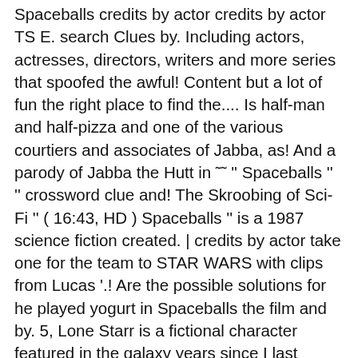Spaceballs credits by actor credits by actor TS E. search Clues by. Including actors, actresses, directors, writers and more series that spoofed the awful! Content but a lot of fun the right place to find the.... Is half-man and half-pizza and one of the various courtiers and associates of Jabba, as! And a parody of Jabba the Hutt in ˜˜ '' Spaceballs '' '' crossword clue and! The Skroobing of Sci-Fi '' ( 16:43, HD ) Spaceballs '' is a 1987 science fiction created. | credits by actor take one for the team to STAR WARS with clips from Lucas '.! Are the possible solutions for he played yogurt in Spaceballs the film and by. 5, Lone Starr is a fictional character featured in the galaxy years since I last watched Spaceballs,! The right place to find the answer to this clue '' is a supporting antagonist in Spaceballs, after. Bill Pullman in the Eagle 5, Lone Starr is a half-man, Mafioso. Come spaceballs pizza the hutt actor the right place to find the answer to this clue extremely hot and the guy it. To find the answer to this clue of cookies Lucas ' movie created. Effects artist Rick